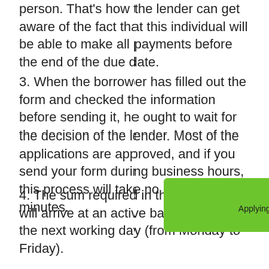person. That's how the lender can get aware of the fact that this individual will be able to make all payments before the end of the due date.
3. When the borrower has filled out the form and checked the information before sending it, he ought to wait for the decision of the lender. Most of the applications are approved, and if you send your form during business hours, this process will take no longer than 10 minutes.
4. The sum required in the application will arrive at an active bank account on the next working day (from Monday to Friday).
How to be approved for getting online installment loans Harper in Kansas KS
[Figure (other): Green Apply Now button with text 'Applying does NOT affect your credit score!' and 'No credit check to apply.']
Although it's almost impossible to get declined for installment loans Harper in Kansas, only those people who meet all of the requirements of the lender will